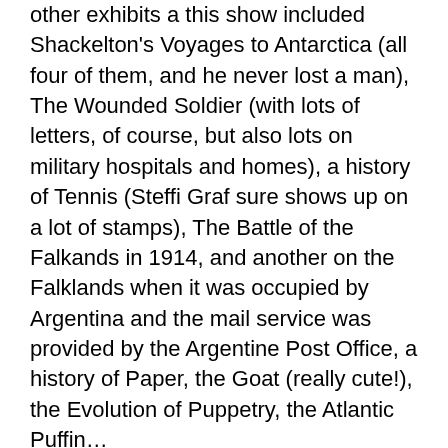other exhibits a this show included Shackelton's Voyages to Antarctica (all four of them, and he never lost a man), The Wounded Soldier (with lots of letters, of course, but also lots on military hospitals and homes), a history of Tennis (Steffi Graf sure shows up on a lot of stamps), The Battle of the Falkands in 1914, and another on the Falklands when it was occupied by Argentina and the mail service was provided by the Argentine Post Office, a history of Paper, the Goat (really cute!), the Evolution of Puppetry, the Atlantic Puffin…
So I try to be a good audience. I don't have the patience to actually create one of these things, but I can appreciate the effort by those who do. We're a weird bunch, us collectors. Not only do we collect, but we can be as OCD about it as anyone can be about pretty much anything. We're pretty harmless, by and large. We don't go around creating unnecessary wars. In fact, it's a good bet that real stamp collectors know enough about the complexity of the world